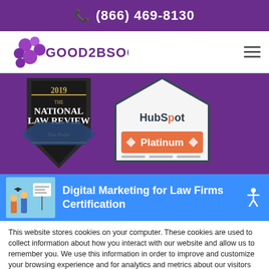(866) 469-8130
[Figure (logo): Good2BSocial logo with purple bubble circles and text]
[Figure (illustration): 2019 National Law Review badge and HubSpot Platinum partner badge on purple background]
[Figure (illustration): Digital Marketing for Law Firms Certification banner with blue background and small illustration image]
This website stores cookies on your computer. These cookies are used to collect information about how you interact with our website and allow us to remember you. We use this information in order to improve and customize your browsing experience and for analytics and metrics about our visitors both on this website and other media. To find out more about the cookies we use, see our Privacy Policy.
Accept